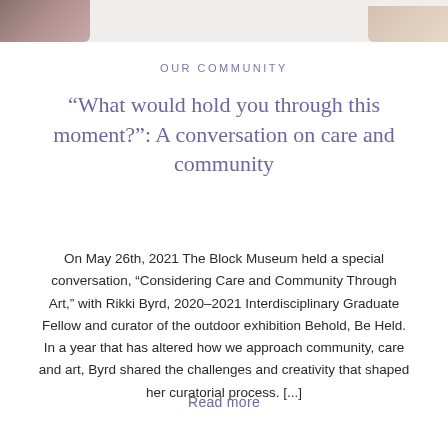[Figure (photo): Top image strip showing partial photographs on left and right edges]
OUR COMMUNITY
“What would hold you through this moment?”: A conversation on care and community
On May 26th, 2021 The Block Museum held a special conversation, “Considering Care and Community Through Art,” with Rikki Byrd, 2020–2021 Interdisciplinary Graduate Fellow and curator of the outdoor exhibition Behold, Be Held. In a year that has altered how we approach community, care and art, Byrd shared the challenges and creativity that shaped her curatorial process. [...]
Read more